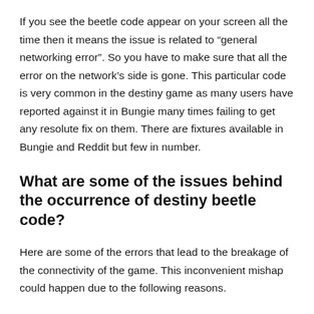If you see the beetle code appear on your screen all the time then it means the issue is related to “general networking error”. So you have to make sure that all the error on the network’s side is gone. This particular code is very common in the destiny game as many users have reported against it in Bungie many times failing to get any resolute fix on them. There are fixtures available in Bungie and Reddit but few in number.
What are some of the issues behind the occurrence of destiny beetle code?
Here are some of the errors that lead to the breakage of the connectivity of the game. This inconvenient mishap could happen due to the following reasons.